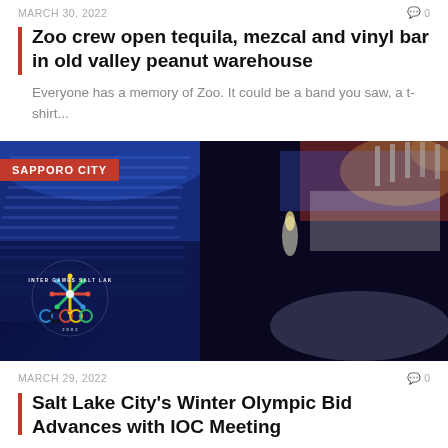MARCH 30, 2022
Zoo crew open tequila, mezcal and vinyl bar in old valley peanut warehouse
Everyone has a memory of Zoo. It could be a band you saw, a t-shirt...
[Figure (photo): Olympic stadium at night with crowd during Winter Games Salt Lake 2002 ceremony, illuminated in blue light. SAPPORO CITY badge visible top left.]
MARCH 29, 2022
Salt Lake City's Winter Olympic Bid Advances with IOC Meeting